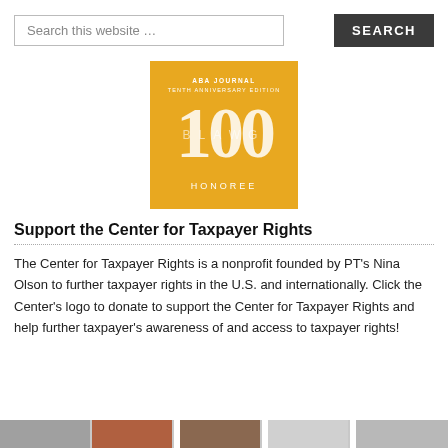Search this website …
[Figure (logo): ABA Journal Blawg 100 Honoree badge — gold/yellow square with '100' in large white numerals, text 'ABA JOURNAL TENTH ANNIVERSARY EDITION' at top, 'BLAWG' spelled out across middle, 'HONOREE' at bottom]
Support the Center for Taxpayer Rights
The Center for Taxpayer Rights is a nonprofit founded by PT's Nina Olson to further taxpayer rights in the U.S. and internationally. Click the Center's logo to donate to support the Center for Taxpayer Rights and help further taxpayer's awareness of and access to taxpayer rights!
[Figure (photo): Partial image strip at bottom of page showing logos/photos, partially cut off]